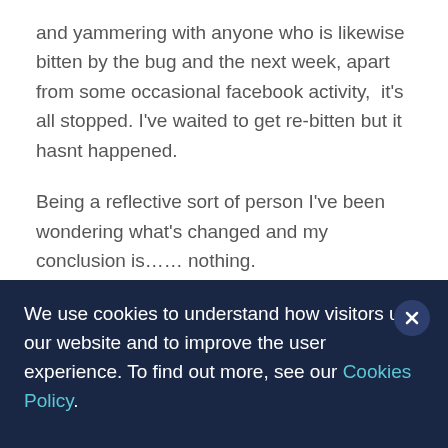and yammering with anyone who is likewise bitten by the bug and the next week, apart from some occasional facebook activity,  it's all stopped. I've waited to get re-bitten but it hasnt happened.
Being a reflective sort of person I've been wondering what's changed and my conclusion is…… nothing.
And therein lies the answer. I haven't blogged, twittered or yammered and it hasn't made any
We use cookies to understand how visitors use our website and to improve the user experience. To find out more, see our Cookies Policy.